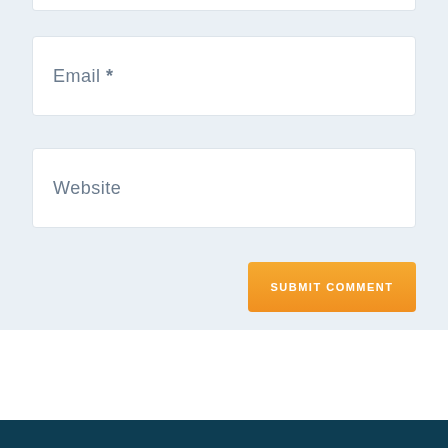Email *
Website
SUBMIT COMMENT